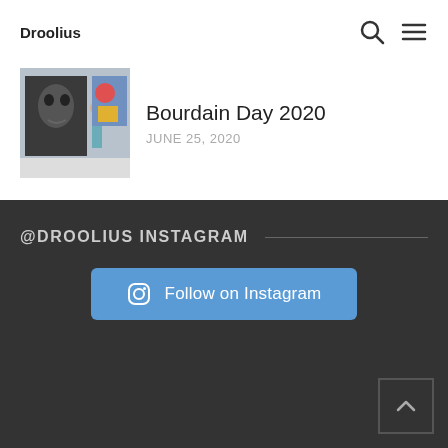Droolius
[Figure (photo): Thumbnail image of a person standing in an art gallery in front of a large black and white portrait painting]
Bourdain Day 2020
JUNE 25, 2020
@DROOLIUS INSTAGRAM
Follow on Instagram